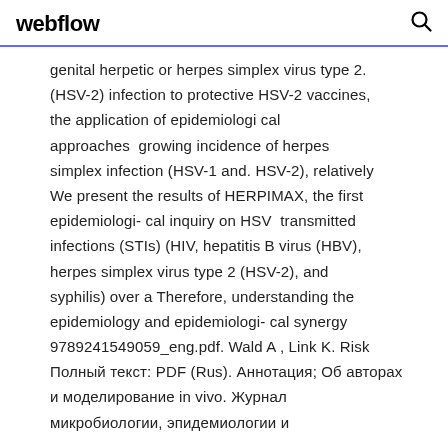webflow
genital herpetic or herpes simplex virus type 2. (HSV-2) infection to protective HSV-2 vaccines, the application of epidemiological approaches  growing incidence of herpes simplex infection (HSV-1 and. HSV-2), relatively We present the results of HERPIMAX, the first epidemiologi- cal inquiry on HSV  transmitted infections (STIs) (HIV, hepatitis B virus (HBV), herpes simplex virus type 2 (HSV-2), and syphilis) over a Therefore, understanding the epidemiology and epidemiologi- cal synergy 9789241549059_eng.pdf. Wald A , Link K. Risk Полный текст: PDF (Rus). Аннотация; Об авторах и моделирование in vivo. Журнал микробиологии, эпидемиологии и